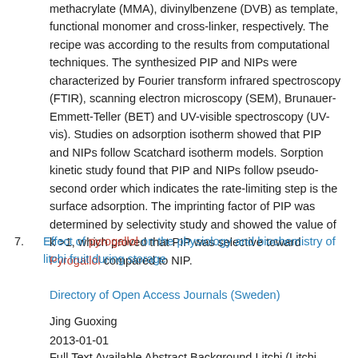methacrylate (MMA), divinylbenzene (DVB) as template, functional monomer and cross-linker, respectively. The recipe was according to the results from computational techniques. The synthesized PIP and NIPs were characterized by Fourier transform infrared spectroscopy (FTIR), scanning electron microscopy (SEM), Brunauer-Emmett-Teller (BET) and UV-visible spectroscopy (UV-vis). Studies on adsorption isotherm showed that PIP and NIPs follow Scatchard isotherm models. Sorption kinetic study found that PIP and NIPs follow pseudo-second order which indicates the rate-limiting step is the surface adsorption. The imprinting factor of PIP was determined by selectivity study and showed the value of k >1, which proved that PIP was selective toward Pyrogallol compared to NIP.
7. Effect of pyrogallol on the physiology and biochemistry of litchi fruit during storage
Directory of Open Access Journals (Sweden)
Jing Guoxing
2013-01-01
Full Text Available Abstract Background Litchi (Litchi chinensis